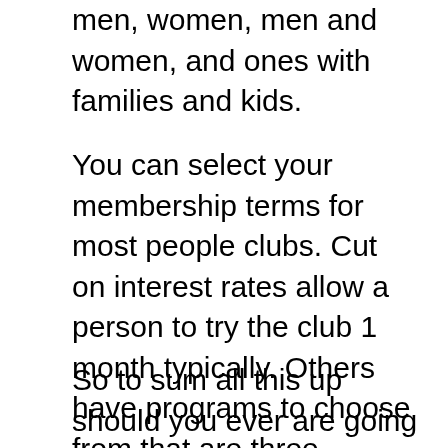men, women, men and women, and ones with families and kids.
You can select your membership terms for most people clubs. Cut on interest rates allow a person to try the club 1 month typically. Others have programs to choose from that are three month, a six month, built full year’s membership. Sometimes, the shipping charges aren’t included inside of membership fee, but are extra and charged by itself.
So to sum all this up should you ever are going to travel to Pittsburgh, Pennsylvania be apt to visit normal water front and also a good time in the Improv comedy club. You’re